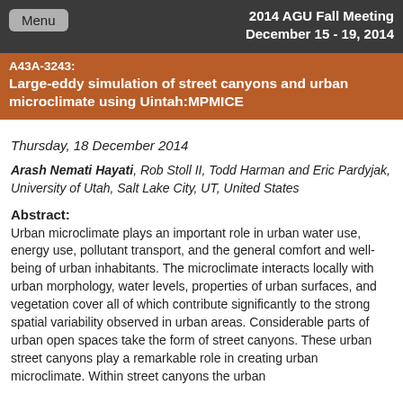2014 AGU Fall Meeting
December 15 - 19, 2014
A43A-3243:
Large-eddy simulation of street canyons and urban microclimate using Uintah:MPMICE
Thursday, 18 December 2014
Arash Nemati Hayati, Rob Stoll II, Todd Harman and Eric Pardyjak, University of Utah, Salt Lake City, UT, United States
Abstract:
Urban microclimate plays an important role in urban water use, energy use, pollutant transport, and the general comfort and well-being of urban inhabitants. The microclimate interacts locally with urban morphology, water levels, properties of urban surfaces, and vegetation cover all of which contribute significantly to the strong spatial variability observed in urban areas. Considerable parts of urban open spaces take the form of street canyons. These urban street canyons play a remarkable role in creating urban microclimate. Within street canyons the urban